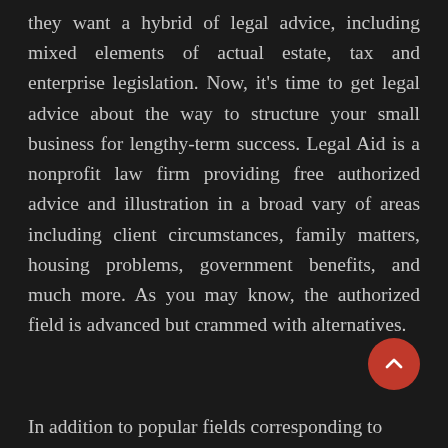they want a hybrid of legal advice, including mixed elements of actual estate, tax and enterprise legislation. Now, it's time to get legal advice about the way to structure your small business for lengthy-term success. Legal Aid is a nonprofit law firm providing free authorized advice and illustration in a broad vary of areas including client circumstances, family matters, housing problems, government benefits, and much more. As you may know, the authorized field is advanced but crammed with alternatives.
In addition to popular fields corresponding to